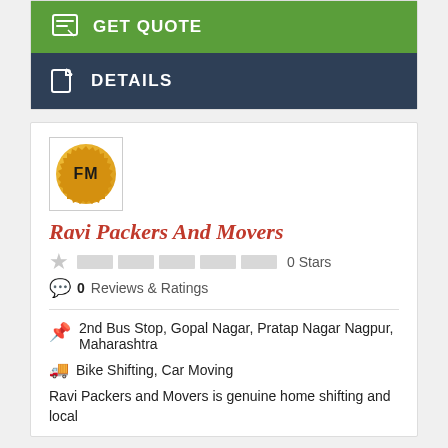GET QUOTE
DETAILS
[Figure (logo): FM gold badge logo for Ravi Packers And Movers]
Ravi Packers And Movers
0 Stars
0 Reviews & Ratings
2nd Bus Stop, Gopal Nagar, Pratap Nagar Nagpur, Maharashtra
Bike Shifting, Car Moving
Ravi Packers and Movers is genuine home shifting and local